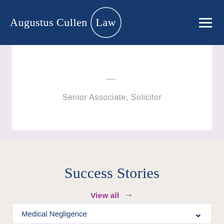Augustus Cullen Law
Senior Associate, Solicitor
Success Stories
View all →
Medical Negligence